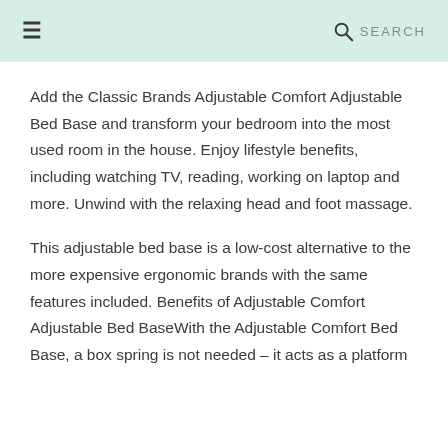≡  🔍 SEARCH
Add the Classic Brands Adjustable Comfort Adjustable Bed Base and transform your bedroom into the most used room in the house. Enjoy lifestyle benefits, including watching TV, reading, working on laptop and more. Unwind with the relaxing head and foot massage.
This adjustable bed base is a low-cost alternative to the more expensive ergonomic brands with the same features included. Benefits of Adjustable Comfort Adjustable Bed BaseWith the Adjustable Comfort Bed Base, a box spring is not needed – it acts as a platform